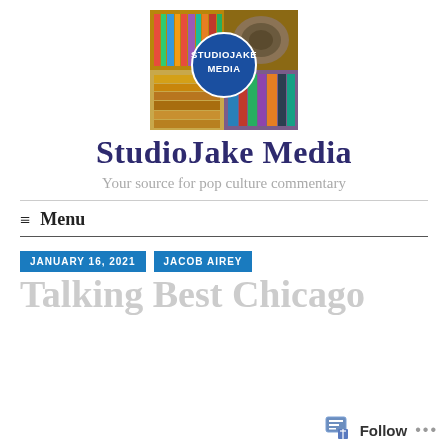[Figure (logo): StudioJake Media logo: a collage of books and media items with a blue circle overlay reading STUDIOJAKE MEDIA]
StudioJake Media
Your source for pop culture commentary
≡ Menu
JANUARY 16, 2021   JACOB AIREY
Talking Best Chicago